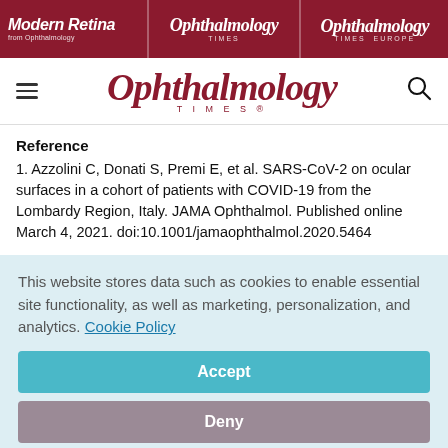Modern Retina from Ophthalmology | Ophthalmology Times | Ophthalmology Times Europe
[Figure (logo): Ophthalmology Times logo with hamburger menu and search icon]
Reference
1. Azzolini C, Donati S, Premi E, et al. SARS-CoV-2 on ocular surfaces in a cohort of patients with COVID-19 from the Lombardy Region, Italy. JAMA Ophthalmol. Published online March 4, 2021. doi:10.1001/jamaophthalmol.2020.5464
This website stores data such as cookies to enable essential site functionality, as well as marketing, personalization, and analytics. Cookie Policy
Accept
Deny